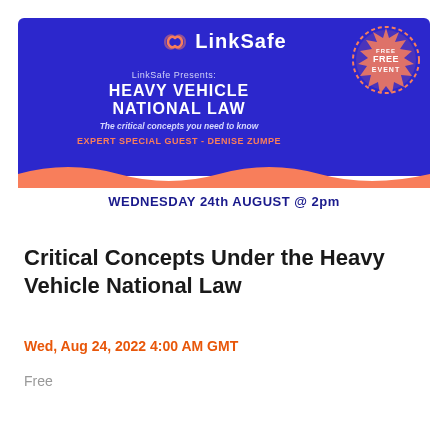[Figure (infographic): LinkSafe event banner with blue background showing 'Heavy Vehicle National Law - The critical concepts you need to know' with expert guest Denise Zumpe, FREE EVENT badge, and orange wave section showing Wednesday 24th August @ 2pm]
Critical Concepts Under the Heavy Vehicle National Law
Wed, Aug 24, 2022 4:00 AM GMT
Free